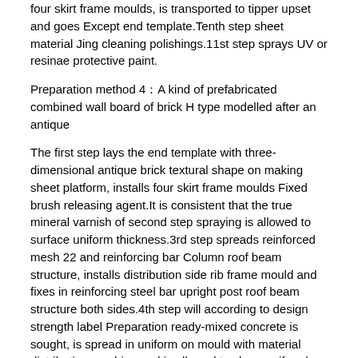four skirt frame moulds, is transported to tipper upset and goes Except end template.Tenth step sheet material Jing cleaning polishings.11st step sprays UV or resinae protective paint.
Preparation method 4：A kind of prefabricated combined wall board of brick H type modelled after an antique
The first step lays the end template with three-dimensional antique brick textural shape on making sheet platform, installs four skirt frame moulds Fixed brush releasing agent.It is consistent that the true mineral varnish of second step spraying is allowed to surface uniform thickness.3rd step spreads reinforced mesh 22 and reinforcing bar Column roof beam structure, installs distribution side rib frame mould and fixes in reinforcing steel bar upright post roof beam structure both sides.4th step will according to design strength label Preparation ready-mixed concrete is sought, is spread in uniform on mould with material distributing machine and is allowed to slurry uniformly, unlatching shaking platform 2-5 minutes vibrate To bubble-free, and make slurry in the rib frame mould of distribution side full.5th step removes distribution side rib frame mould after concrete initial set. 6th step is